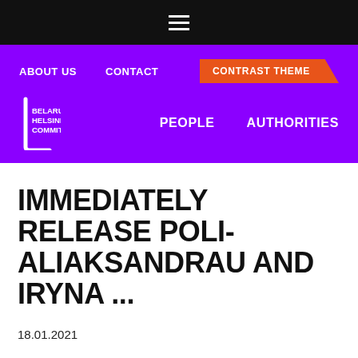[Figure (screenshot): Hamburger menu icon (three white horizontal lines) on black background]
ABOUT US   CONTACT   CONTRAST THEME
[Figure (logo): Belarusian Helsinki Committee logo — white bracket/C shape with text BELARUSIAN HELSINKI COMMITTEE on purple background]
PEOPLE   AUTHORITIES
IMMEDIATELY RELEASE POLI... ALIAKSANDRAU AND IRYNA ...
18.01.2021